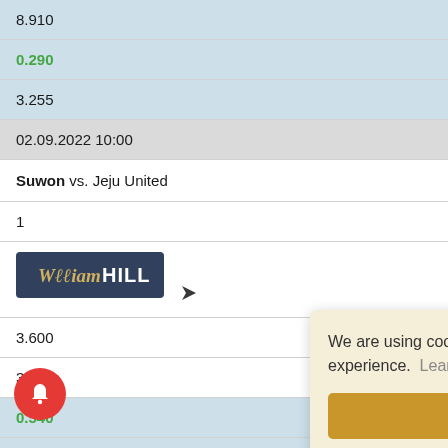8.910
0.290
3.255
02.09.2022 10:00
Suwon vs. Jeju United
1
[Figure (logo): William Hill logo with navigation arrow]
3.600
3.380
0.540
15.976
02.09.2022 10:30
Incheon United v...
[Figure (logo): Pinnacle logo with navigation arrow]
We are using cookies for your best experience.  Learn more
Got it!